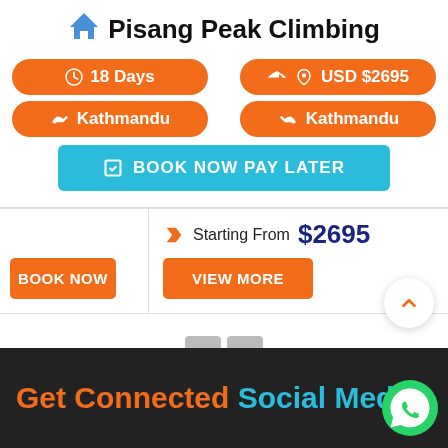Pisang Peak Climbing
18 Days
USD $2695
Kathmandu
Kathmandu
BOOK NOW PAY LATER
Starting From $2695
BOOK NOW
VIEW MORE
Get Connected Social Media